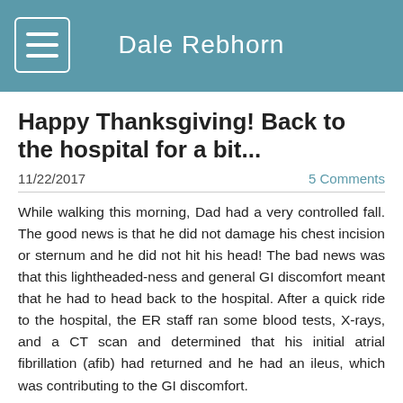Dale Rebhorn
Happy Thanksgiving! Back to the hospital for a bit...
11/22/2017
5 Comments
While walking this morning, Dad had a very controlled fall. The good news is that he did not damage his chest incision or sternum and he did not hit his head! The bad news was that this lightheaded-ness and general GI discomfort meant that he had to head back to the hospital. After a quick ride to the hospital, the ER staff ran some blood tests, X-rays, and a CT scan and determined that his initial atrial fibrillation (afib) had returned and he had an ileus, which was contributing to the GI discomfort.
The afib is tricky because it makes him feel generally nauseous and tired. The doctors and nurses told us that afib is decently common after surgery, but that they wanted to admit him back to the cardiac unit so that they could monitor for a few days and make sure that it